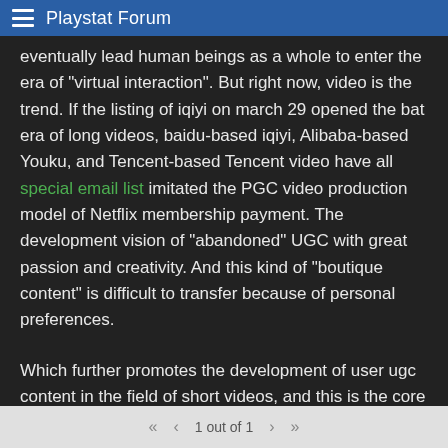Playstat Forum
eventually lead human beings as a whole to enter the era of "virtual interaction". But right now, video is the trend. If the listing of iqiyi on march 29 opened the bat era of long videos, baidu-based iqiyi, Alibaba-based Youku, and Tencent-based Tencent video have all special email list imitated the PGC video production model of Netflix membership payment. The development vision of "abandoned" UGC with great passion and creativity. And this kind of "boutique content" is difficult to transfer because of personal preferences.
Which further promotes the development of user ugc content in the field of short videos, and this is the core factor for station b to stand out. However, the threshold for user ugc content is too high, which limits the development prospects of station b, so there special email list is a need for live broadcasts and short videos. Limited to all kinds of "uncontrollability" of live broadcast, although the field of "short video", which is also subject to strong supervision, is also subject to frequent
1 out of 1